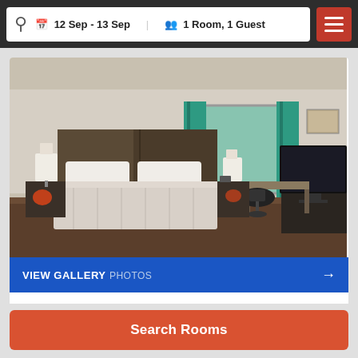12 Sep - 13 Sep   1 Room, 1 Guest
[Figure (photo): Hotel king room with large bed, teal curtains, flat screen TV, and desk]
VIEW GALLERY PHOTOS →
King Room - Mobility Access/Non-Smoking
18.58 m² / Size
Max Guest: 2 persons
Room Type: Double
Search Rooms